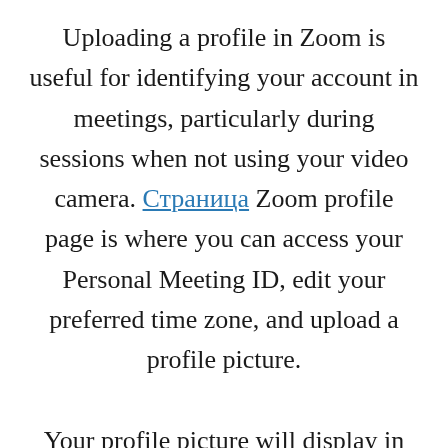Uploading a profile in Zoom is useful for identifying your account in meetings, particularly during sessions when not using your video camera. Страница Zoom profile page is where you can access your Personal Meeting ID, edit your preferred time zone, and upload a profile picture.

Your profile picture will display in Zoom meetings beside your name on the Participants menu and, when your camera is